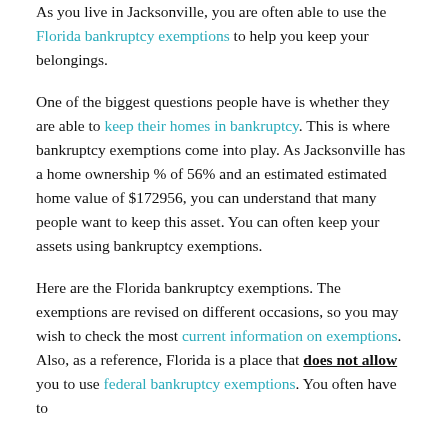As you live in Jacksonville, you are often able to use the Florida bankruptcy exemptions to help you keep your belongings.
One of the biggest questions people have is whether they are able to keep their homes in bankruptcy. This is where bankruptcy exemptions come into play. As Jacksonville has a home ownership % of 56% and an estimated estimated home value of $172956, you can understand that many people want to keep this asset. You can often keep your assets using bankruptcy exemptions.
Here are the Florida bankruptcy exemptions. The exemptions are revised on different occasions, so you may wish to check the most current information on exemptions. Also, as a reference, Florida is a place that does not allow you to use federal bankruptcy exemptions. You often have to